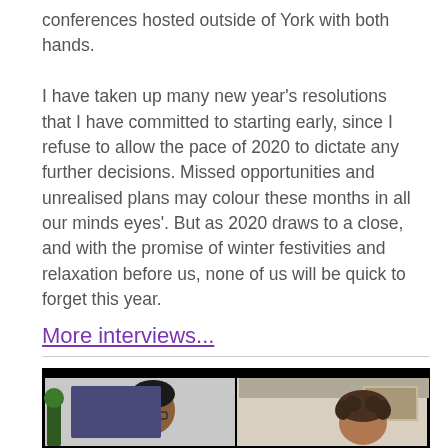conferences hosted outside of York with both hands.

I have taken up many new year's resolutions that I have committed to starting early, since I refuse to allow the pace of 2020 to dictate any further decisions. Missed opportunities and unrealised plans may colour these months in all our minds eyes'. But as 2020 draws to a close, and with the promise of winter festivities and relaxation before us, none of us will be quick to forget this year.
More interviews...
[Figure (photo): Screenshot of a video call showing two people. Left panel shows a person with dark hair and glasses against a light background with a plant visible. Right panel shows a person with curly hair against a light interior background.]